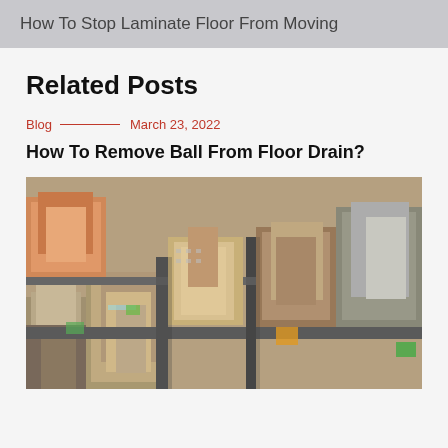How To Stop Laminate Floor From Moving
Related Posts
Blog — March 23, 2022
How To Remove Ball From Floor Drain?
[Figure (photo): Aerial view of a dense urban cityscape with tall buildings, streets, and city blocks viewed from above.]